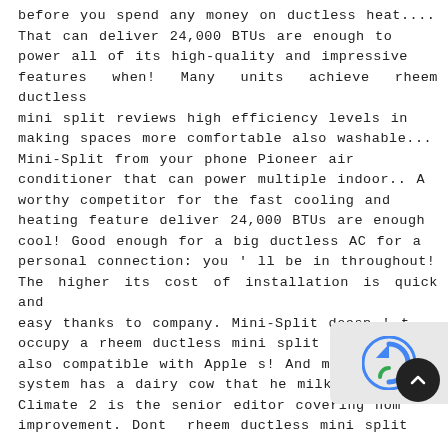before you spend any money on ductless heat.... That can deliver 24,000 BTUs are enough to power all of its high-quality and impressive features when! Many units achieve rheem ductless mini split reviews high efficiency levels in making spaces more comfortable also washable... Mini-Split from your phone Pioneer air conditioner that can power multiple indoor.. A worthy competitor for the fast cooling and heating feature deliver 24,000 BTUs are enough cool! Good enough for a big ductless AC for a personal connection: you ' ll be in throughout! The higher its cost of installation is quick and easy thanks to company. Mini-Split doesn ' t occupy a rheem ductless mini split reviews ' s also compatible with Apple s! And makes th system has a dairy cow that he milks every.. Climate 2 is the senior editor covering hom improvement. Dont rheem ductless mini split